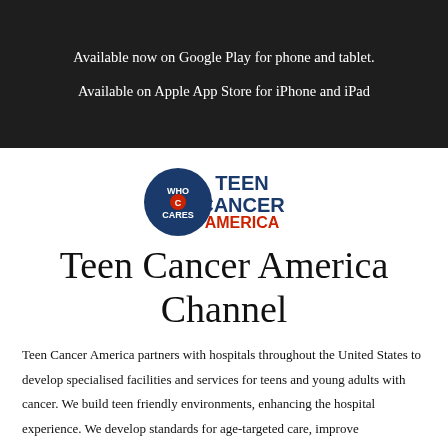Available now on Google Play for phone and tablet.
Available on Apple App Store for iPhone and iPad
[Figure (logo): Who Cares Teen Cancer America logo — a dark blue circle with 'WHO CARES' text, next to bold text 'TEEN CANCER AMERICA' in blue and red.]
Teen Cancer America Channel
Teen Cancer America partners with hospitals throughout the United States to develop specialised facilities and services for teens and young adults with cancer. We build teen friendly environments, enhancing the hospital experience. We develop standards for age-targeted care, improve collaboration between paediatric and adult specialists and